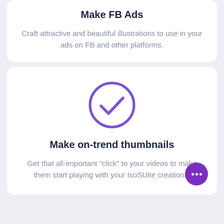Make FB Ads
Craft attractive and beautiful illustrations to use in your ads on FB and other platforms.
[Figure (illustration): Purple circle with a checkmark inside, indicating a feature or completion icon.]
Make on-trend thumbnails
Get that all-important "click" to your videos to make them start playing with your IsoSUite creations.